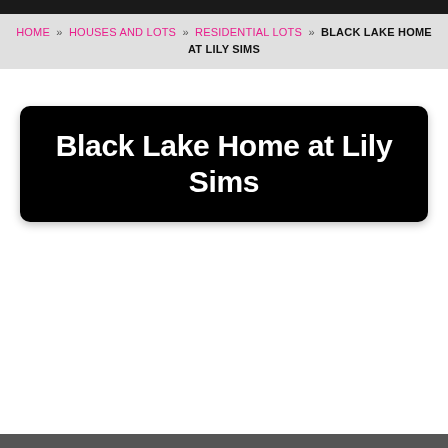HOME » HOUSES AND LOTS » RESIDENTIAL LOTS » BLACK LAKE HOME AT LILY SIMS
Black Lake Home at Lily Sims